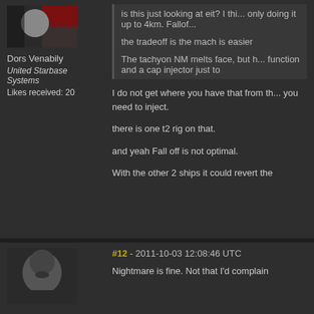[Figure (photo): Avatar image of user Dors Venabily, partially cropped]
Dors Venabily
United Starbase Systems
Likes received: 20
is this just looking at eit? I thi... only doing it up to 4km. Fallof...
the tradeoff is the mach is easier
The tachyon NM melts face, but h... function and a cap injector just to
I do not get where you have that from th... you need to inject.
there is one t2 rig on that.
and yeah Fall off is not optimal.
With the other 2 ships it could revert the
#12 - 2011-10-03 12:08:46 UTC
[Figure (photo): Avatar image of another user, partially visible]
Nightmare is fine. Not that I'd complain